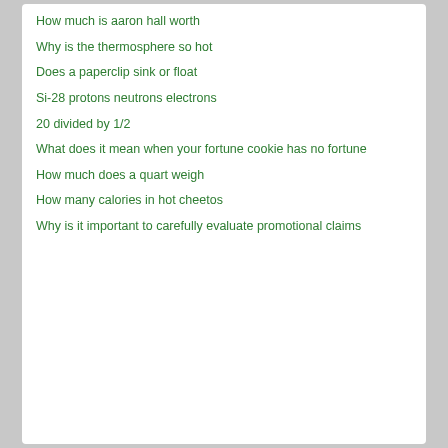How much is aaron hall worth
Why is the thermosphere so hot
Does a paperclip sink or float
Si-28 protons neutrons electrons
20 divided by 1/2
What does it mean when your fortune cookie has no fortune
How much does a quart weigh
How many calories in hot cheetos
Why is it important to carefully evaluate promotional claims